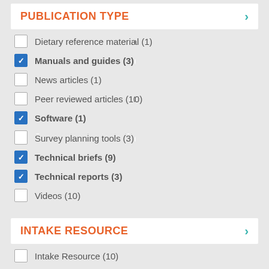PUBLICATION TYPE
Dietary reference material (1)
Manuals and guides (3)
News articles (1)
Peer reviewed articles (10)
Software (1)
Survey planning tools (3)
Technical briefs (9)
Technical reports (3)
Videos (10)
INTAKE RESOURCE
Intake Resource (10)